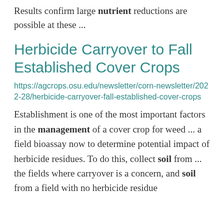Results confirm large nutrient reductions are possible at these ...
Herbicide Carryover to Fall Established Cover Crops
https://agcrops.osu.edu/newsletter/corn-newsletter/2022-28/herbicide-carryover-fall-established-cover-crops
Establishment is one of the most important factors in the management of a cover crop for weed ... a field bioassay now to determine potential impact of herbicide residues. To do this, collect soil from ... the fields where carryover is a concern, and soil from a field with no herbicide residue